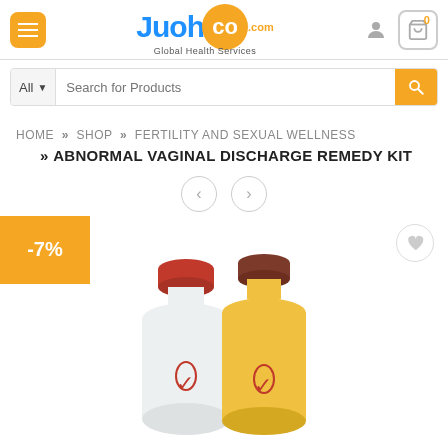[Figure (logo): Juohco.com Global Health Services logo with orange hamburger menu button on left, user icon and cart on right]
[Figure (screenshot): Search bar with All category dropdown and Search for Products placeholder text and orange search button]
HOME » SHOP » FERTILITY AND SEXUAL WELLNESS » ABNORMAL VAGINAL DISCHARGE REMEDY KIT
[Figure (photo): Product image showing two bottles (one white with red cap, one yellow with dark red cap), with -7% discount badge in orange and a wishlist heart button]